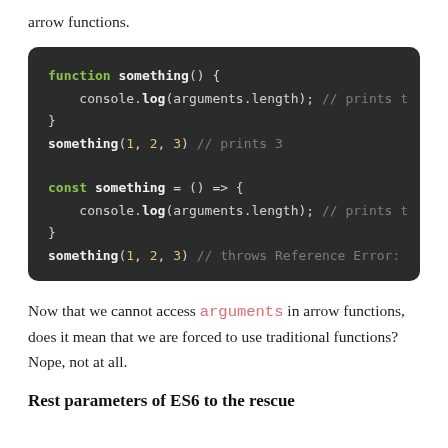arrow functions.
[Figure (screenshot): Dark-themed code block showing two JavaScript functions: a traditional function 'something()' that logs arguments.length (prints t...), called with something(1, 2, 3) which prints 3; and an arrow function const something = () => { console.log(arguments.length); } called with something(1, 2, 3) which throws Reference Error:]
Now that we cannot access arguments in arrow functions, does it mean that we are forced to use traditional functions? Nope, not at all.
Rest parameters of ES6 to the rescue